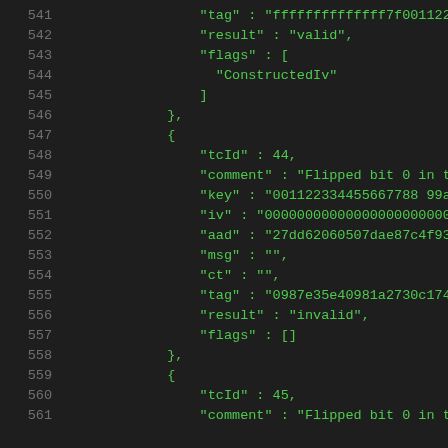Code listing lines 541-561 showing JSON test vector data with tcId, comment, key, iv, aad, msg, ct, tag, result, and flags fields